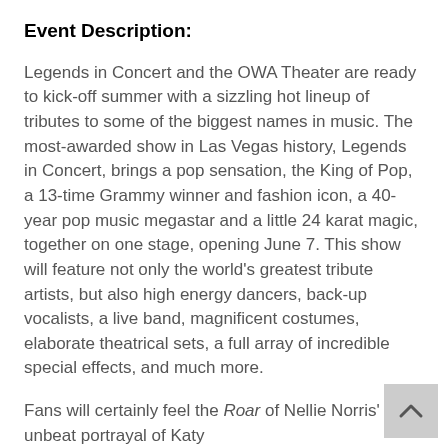Event Description:
Legends in Concert and the OWA Theater are ready to kick-off summer with a sizzling hot lineup of tributes to some of the biggest names in music. The most-awarded show in Las Vegas history, Legends in Concert, brings a pop sensation, the King of Pop, a 13-time Grammy winner and fashion icon, a 40-year pop music megastar and a little 24 karat magic, together on one stage, opening June 7. This show will feature not only the world's greatest tribute artists, but also high energy dancers, back-up vocalists, a live band, magnificent costumes, elaborate theatrical sets, a full array of incredible special effects, and much more.
Fans will certainly feel the Roar of Nellie Norris' unbeat portrayal of Katy